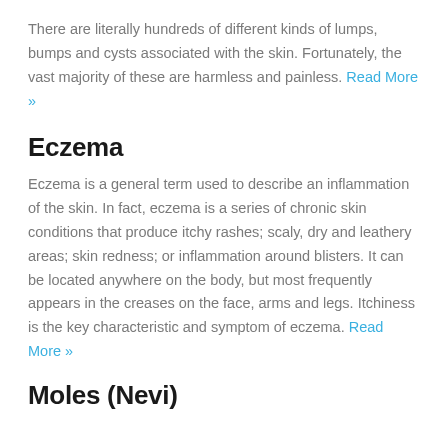There are literally hundreds of different kinds of lumps, bumps and cysts associated with the skin. Fortunately, the vast majority of these are harmless and painless. Read More »
Eczema
Eczema is a general term used to describe an inflammation of the skin. In fact, eczema is a series of chronic skin conditions that produce itchy rashes; scaly, dry and leathery areas; skin redness; or inflammation around blisters. It can be located anywhere on the body, but most frequently appears in the creases on the face, arms and legs. Itchiness is the key characteristic and symptom of eczema. Read More »
Moles (Nevi)